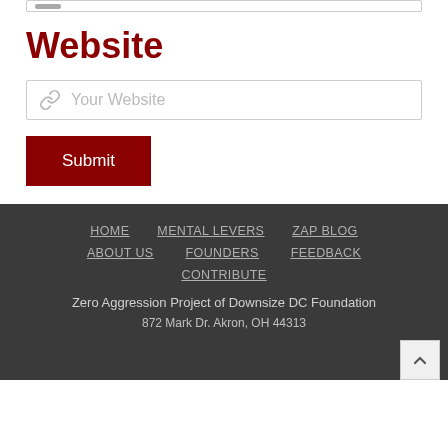Website
[Figure (screenshot): Form input field with link icon and placeholder text 'Your Website']
[Figure (screenshot): Red Submit button]
HOME   MENTAL LEVERS   ZAP BLOG   ABOUT US   FOUNDERS   FEEDBACK   CONTRIBUTE
Zero Aggression Project of Downsize DC Foundation
872 Mark Dr. Akron, OH 44313